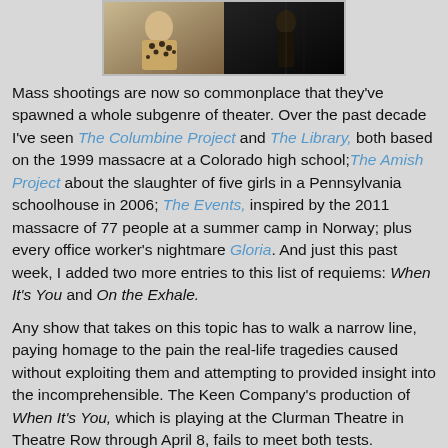[Figure (photo): Two theatrical performance photos side by side: left shows a person in light colored clothing with decorative elements, right shows a dark silhouetted figure on stage.]
Mass shootings are now so commonplace that they've spawned a whole subgenre of theater. Over the past decade I've seen The Columbine Project and The Library, both based on the 1999 massacre at a Colorado high school; The Amish Project about the slaughter of five girls in a Pennsylvania schoolhouse in 2006; The Events, inspired by the 2011 massacre of 77 people at a summer camp in Norway; plus every office worker's nightmare Gloria. And just this past week, I added two more entries to this list of requiems: When It's You and On the Exhale.
Any show that takes on this topic has to walk a narrow line, paying homage to the pain the real-life tragedies caused without exploiting them and attempting to provided insight into the incomprehensible. The Keen Company's production of When It's You, which is playing at the Clurman Theatre in Theatre Row through April 8, fails to meet both tests.